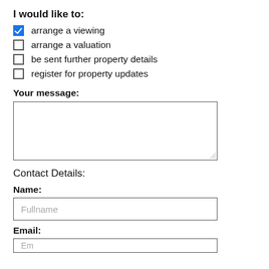I would like to:
arrange a viewing (checked)
arrange a valuation
be sent further property details
register for property updates
Your message:
Contact Details:
Name:
Fullname (placeholder)
Email: